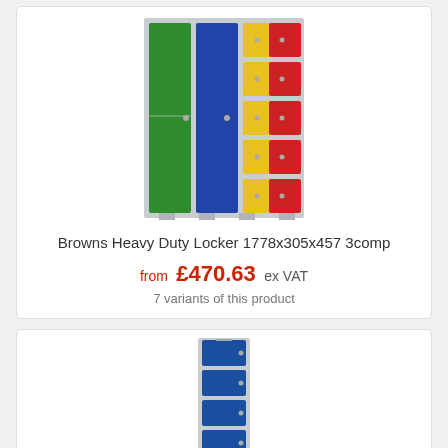[Figure (photo): Colorful multi-compartment heavy duty locker unit with green, blue, yellow, and red doors on grey body, 3 columns wide with multiple compartments.]
Browns Heavy Duty Locker 1778x305x457 3comp
from £470.63 ex VAT
7 variants of this product
[Figure (photo): Tall narrow single-column locker unit with 4 blue doors on grey body.]